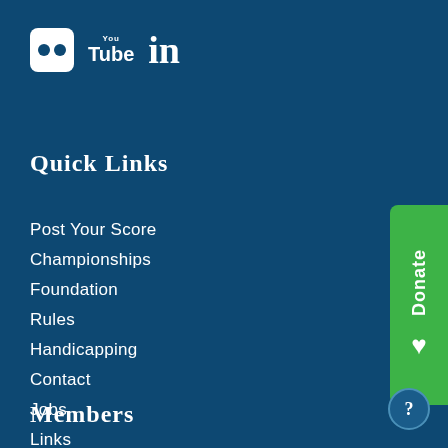[Figure (illustration): Social media icons: Flickr (white rounded square with two dots), YouTube (text logo), LinkedIn (bold 'in' text)]
Quick Links
Post Your Score
Championships
Foundation
Rules
Handicapping
Contact
Jobs
Links
LIGA
WGA
Members
[Figure (illustration): Green Donate tab on right side with heart icon and rotated 'Donate' text]
[Figure (illustration): Blue circle with question mark in bottom right corner]